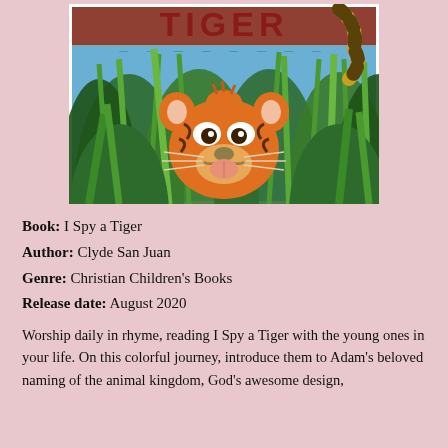[Figure (illustration): Book cover of 'I Spy a Tiger' showing a cartoon tiger peeking through tall green grass, with the title text 'Tiger' in large decorative letters at the top and a striped tail visible in the upper right corner.]
Book:  I Spy a Tiger
Author: Clyde San Juan
Genre: Christian Children's Books
Release date: August 2020
Worship daily in rhyme, reading I Spy a Tiger with the young ones in your life. On this colorful journey, introduce them to Adam's beloved naming of the animal kingdom, God's awesome design,